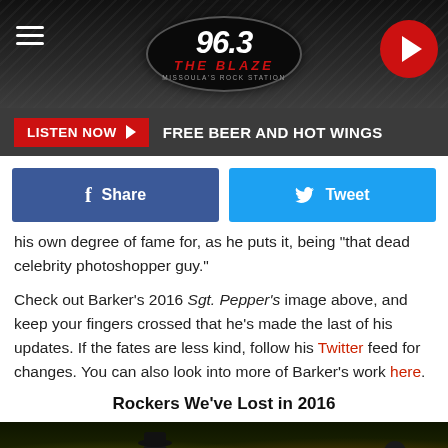[Figure (screenshot): 96.3 The Blaze radio station header with logo, hamburger menu, and play button]
LISTEN NOW ▶  FREE BEER AND HOT WINGS
[Figure (infographic): Facebook Share and Twitter Tweet social sharing buttons]
his own degree of fame for, as he puts it, being "that dead celebrity photoshopper guy."
Check out Barker's 2016 Sgt. Pepper's image above, and keep your fingers crossed that he's made the last of his updates. If the fates are less kind, follow his Twitter feed for changes. You can also look into more of Barker's work here.
Rockers We've Lost in 2016
[Figure (photo): Two performers on stage with microphones under colorful concert lighting]